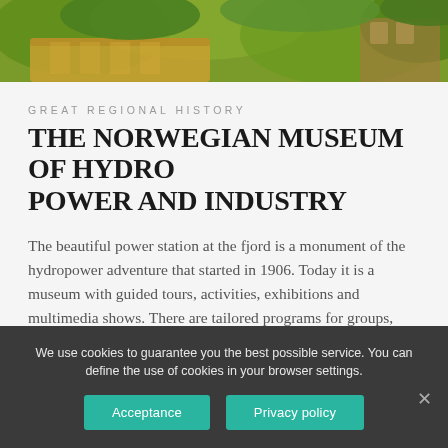[Figure (photo): Aerial/partial view of a building with orange/yellow roof tiles surrounded by lush green trees and foliage]
GREAT REGIONAL HISTORY
THE NORWEGIAN MUSEUM OF HYDRO POWER AND INDUSTRY
The beautiful power station at the fjord is a monument of the hydropower adventure that started in 1906. Today it is a museum with guided tours, activities, exhibitions and multimedia shows. There are tailored programs for groups, meetings and seminars.
The tour to the beautiful station tells the story of hydropower
We use cookies to guarantee you the best possible service. You can define the use of cookies in your browser settings.